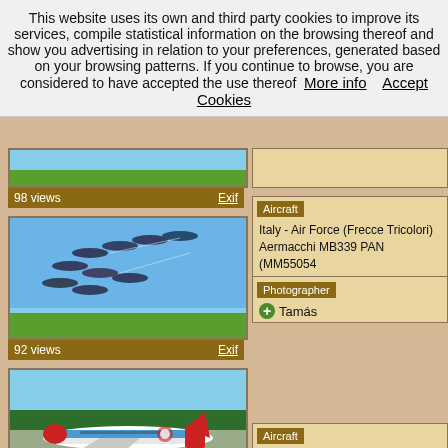This website uses its own and third party cookies to improve its services, compile statistical information on the browsing thereof and show you advertising in relation to your preferences, generated based on your browsing patterns. If you continue to browse, you are considered to have accepted the use thereof  More info    Accept Cookies
[Figure (photo): Aerial photo of green fields, showing 98 views with Exif link]
[Figure (photo): Formation of Italian Air Force Frecce Tricolori aerobatic team jets in flight, 92 views with Exif link]
Aircraft
Italy - Air Force (Frecce Tricolori)
Aermacchi MB339 PAN (MM55054
Photographer
Tamás
[Figure (photo): Slovakia Government Airbus A319-115 CJ (OM-BYA) on tarmac]
Aircraft
Slovakia - Gouvernement
Airbus A319-115 CJ (OM-BYA)
Photographer
Tamás